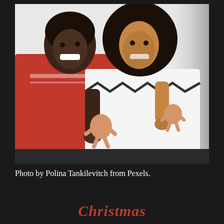[Figure (photo): Two people in holiday sweaters holding gingerbread man cookies, smiling, against a light grey/white background. The man on the left wears a red Christmas sweater and the woman on the right wears a white sweater with black patterns.]
Photo by Polina Tankilevitch from Pexels.
Christmas